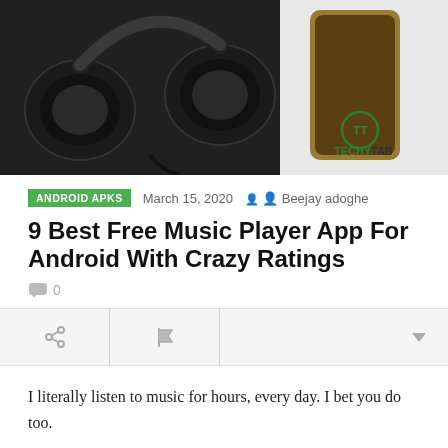[Figure (photo): Header image showing black over-ear headphones and a smartphone on a light background, with TechyTab logo (TT) in the lower right corner]
ANDROID APKS   March 15, 2020   Beejay adoghe
9 Best Free Music Player App For Android With Crazy Ratings
💬 0
I literally listen to music for hours, every day. I bet you do too.
In this article, I will show you some of the best free music player app for Android, I have tested these Apps myself and